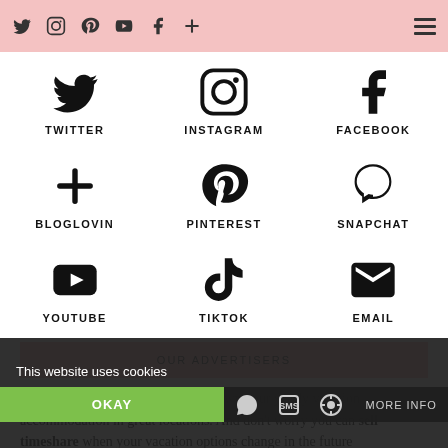Twitter Instagram Pinterest YouTube Facebook + [hamburger menu]
[Figure (infographic): 3x3 grid of social media icons with labels: TWITTER, INSTAGRAM, FACEBOOK, BLOGLOVIN, PINTEREST, SNAPCHAT, YOUTUBE, TIKTOK, EMAIL]
OUR ADVERTISERS
When you buy timeshare you can own your yearly vacation accommodation in great locations. And don't worry you can sell timeshare when your vacation options change in the future
This website uses cookies
OKAY
MORE INFO